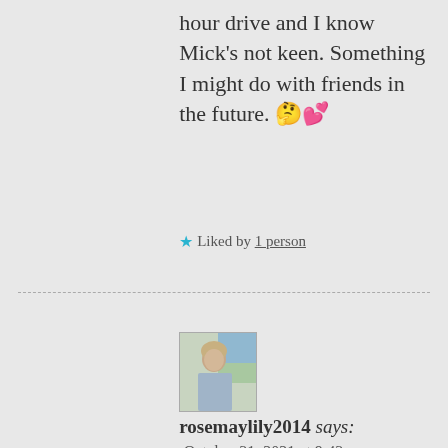hour drive and I know Mick's not keen. Something I might do with friends in the future. 🤔💕
★ Liked by 1 person
[Figure (photo): Avatar photo of rosemaylily2014 — a woman sitting at a table, wearing light blue top, indoor setting with greenery visible in background]
rosemaylily2014 says:
October 31, 2021 at 9:43 am
Yes best to wait for friends to arrive then! It would be a long day out and not a